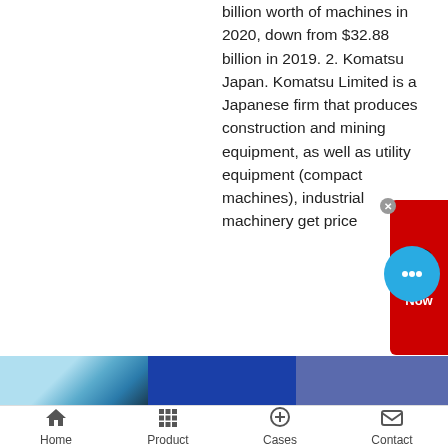billion worth of machines in 2020, down from $32.88 billion in 2019. 2. Komatsu Japan. Komatsu Limited is a Japanese firm that produces construction and mining equipment, as well as utility equipment (compact machines), industrial machinery get price
[Figure (photo): Three horizontal image segments at bottom: light blue/cyan industrial photo on left, solid dark blue center, slate blue right]
Home  Product  Cases  Contact